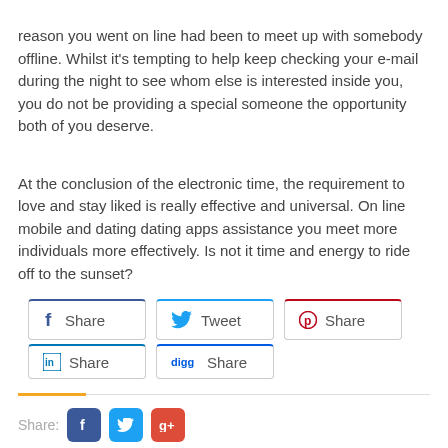reason you went on line had been to meet up with somebody offline. Whilst it's tempting to help keep checking your e-mail during the night to see whom else is interested inside you, you do not be providing a special someone the opportunity both of you deserve.
At the conclusion of the electronic time, the requirement to love and stay liked is really effective and universal. On line mobile and dating dating apps assistance you meet more individuals more effectively. Is not it time and energy to ride off to the sunset?
[Figure (other): Social sharing buttons: Facebook Share, Twitter Tweet, Pinterest Share, LinkedIn Share, Digg Share]
[Figure (other): Share label with Facebook, Twitter, and Google+ icon buttons]